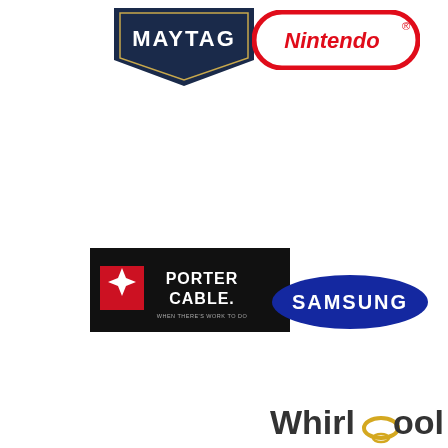[Figure (logo): Maytag brand logo - dark navy shield shape with white MAYTAG text]
[Figure (logo): Nintendo brand logo - red rounded rectangle border with Nintendo text and registered trademark symbol]
[Figure (logo): Porter Cable brand logo - black rectangle with red star/diamond shape and white PORTER CABLE text]
[Figure (logo): Samsung brand logo - blue ellipse/oval shape with white SAMSUNG text]
[Figure (logo): Whirlpool brand logo - dark gray Whirlpool text with a golden/yellow oval ring accent]